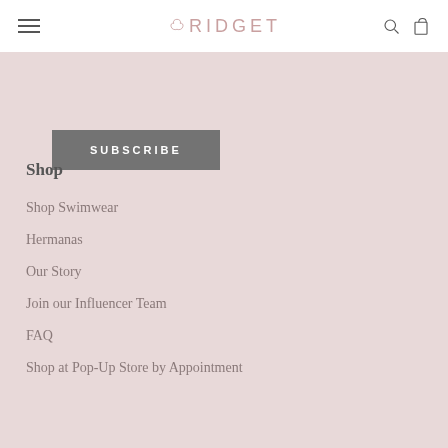BRIDGET [logo with menu, search, and cart icons]
SUBSCRIBE
Shop
Shop Swimwear
Hermanas
Our Story
Join our Influencer Team
FAQ
Shop at Pop-Up Store by Appointment